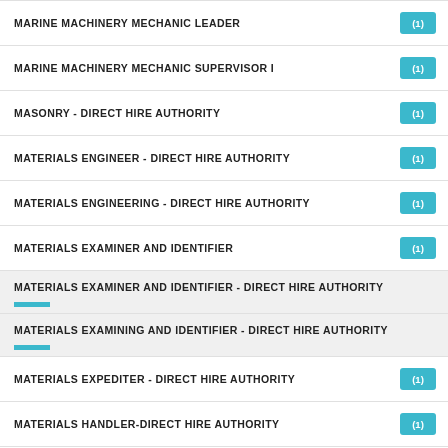MARINE MACHINERY MECHANIC LEADER (1)
MARINE MACHINERY MECHANIC SUPERVISOR I (1)
MASONRY - DIRECT HIRE AUTHORITY (1)
MATERIALS ENGINEER - DIRECT HIRE AUTHORITY (1)
MATERIALS ENGINEERING - DIRECT HIRE AUTHORITY (1)
MATERIALS EXAMINER AND IDENTIFIER (1)
MATERIALS EXAMINER AND IDENTIFIER - DIRECT HIRE AUTHORITY
MATERIALS EXAMINING AND IDENTIFIER - DIRECT HIRE AUTHORITY
MATERIALS EXPEDITER - DIRECT HIRE AUTHORITY (1)
MATERIALS HANDLER-DIRECT HIRE AUTHORITY (1)
MATHEMATICAL STATISTICIAN (DIRECT HIRE) (1)
MATHEMATICAL STATISTICS - DIRECT HIRE AUTHORITY (1)
MATHEMATICS - DIRECT HIRE AUTHORITY (1)